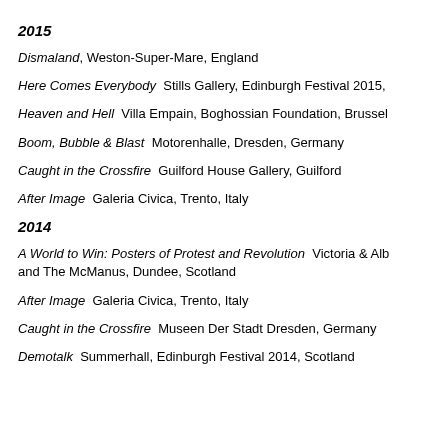2015
Dismaland, Weston-Super-Mare, England
Here Comes Everybody  Stills Gallery, Edinburgh Festival 2015,
Heaven and Hell  Villa Empain, Boghossian Foundation, Brussel
Boom, Bubble & Blast  Motorenhalle, Dresden, Germany
Caught in the Crossfire  Guilford House Gallery, Guilford
After Image  Galeria Civica, Trento, Italy
2014
A World to Win: Posters of Protest and Revolution  Victoria & Alb and The McManus, Dundee, Scotland
After Image  Galeria Civica, Trento, Italy
Caught in the Crossfire  Museen Der Stadt Dresden, Germany
Demotalk  Summerhall, Edinburgh Festival 2014, Scotland